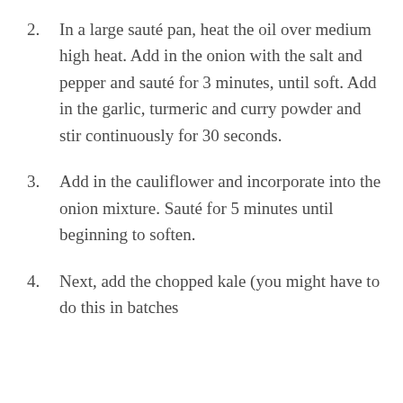2. In a large sauté pan, heat the oil over medium high heat. Add in the onion with the salt and pepper and sauté for 3 minutes, until soft. Add in the garlic, turmeric and curry powder and stir continuously for 30 seconds.
3. Add in the cauliflower and incorporate into the onion mixture. Sauté for 5 minutes until beginning to soften.
4. Next, add the chopped kale (you might have to do this in batches